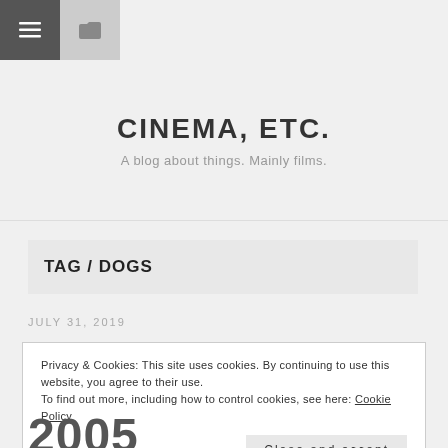☰  🗀
CINEMA, ETC.
A blog about things. Mainly films.
TAG / DOGS
JULY 31, 2019
Privacy & Cookies: This site uses cookies. By continuing to use this website, you agree to their use.
To find out more, including how to control cookies, see here: Cookie Policy
Close and accept
2005